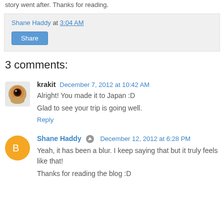story went after. Thanks for reading.
Shane Haddy at 3:04 AM
Share
3 comments:
krakit  December 7, 2012 at 10:42 AM
Alright! You made it to Japan :D

Glad to see your trip is going well.
Reply
Shane Haddy  December 12, 2012 at 6:28 PM
Yeah, it has been a blur. I keep saying that but it truly feels like that!

Thanks for reading the blog :D